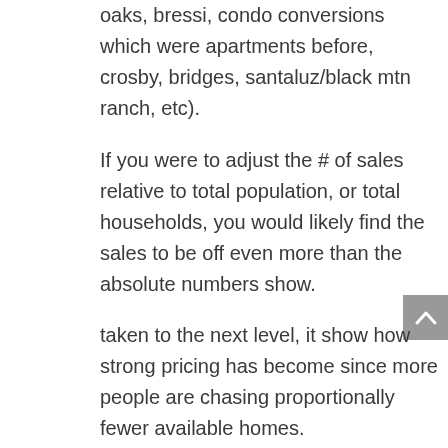oaks, bressi, condo conversions which were apartments before, crosby, bridges, santaluz/black mtn ranch, etc).
If you were to adjust the # of sales relative to total population, or total households, you would likely find the sales to be off even more than the absolute numbers show.
taken to the next level, it show how strong pricing has become since more people are chasing proportionally fewer available homes.